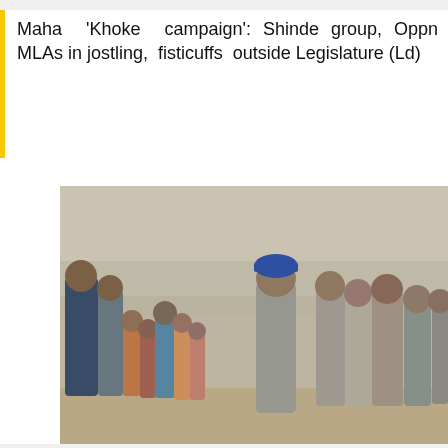Maha 'Khoke campaign': Shinde group, Oppn MLAs in jostling, fisticuffs outside Legislature (Ld)
[Figure (photo): Group of people, including children, gathered outdoors in an arid setting, some appearing to receive items from a person in a blue cap]
Hindu volunteers in Noshki step up aid in Balochistan floods
[Figure (photo): Shirtless man wearing a green cloth around his neck, outdoors in arid surroundings]